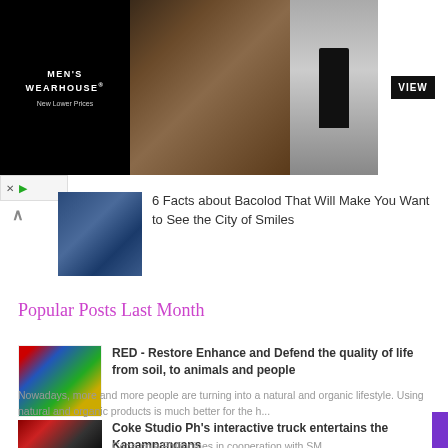[Figure (photo): Men's Wearhouse advertisement banner showing couple in formal wear and man in tuxedo, with VIEW button]
6 Facts about Bacolod That Will Make You Want to See the City of Smiles
Popular Posts Last Month
[Figure (logo): Rising Pharma Dynasty logo with colorful butterfly/bird design]
RED - Restore Enhance and Defend the quality of life from soil, to animals and people
Nowadays, more and more people are turning into a natural and organic lifestyle. Using natural and organic products is much better for the h...
[Figure (photo): Coke Studio Philippines interactive truck photo]
Coke Studio Ph's interactive truck entertains the Kapampangans
Coca-cola Philippines in cooperation with SM